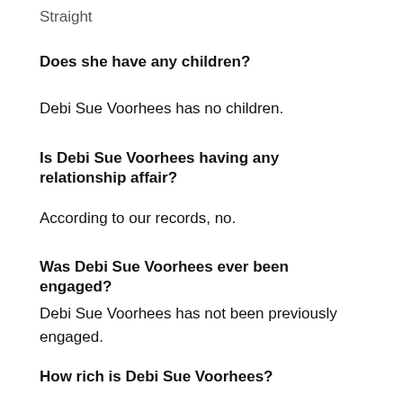Straight
Does she have any children?
Debi Sue Voorhees has no children.
Is Debi Sue Voorhees having any relationship affair?
According to our records, no.
Was Debi Sue Voorhees ever been engaged?
Debi Sue Voorhees has not been previously engaged.
How rich is Debi Sue Voorhees?
Discover the net worth of Debi Sue Voorhees